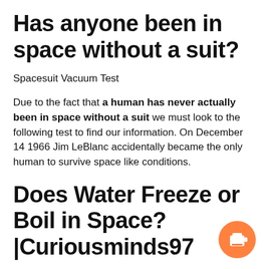Has anyone been in space without a suit?
Spacesuit Vacuum Test
Due to the fact that a human has never actually been in space without a suit we must look to the following test to find our information. On December 14 1966 Jim LeBlanc accidentally became the only human to survive space like conditions.
Does Water Freeze or Boil in Space? |Curiousminds97
[Figure (logo): Orange circular coffee cup icon (Buy Me a Coffee button) in bottom right corner]